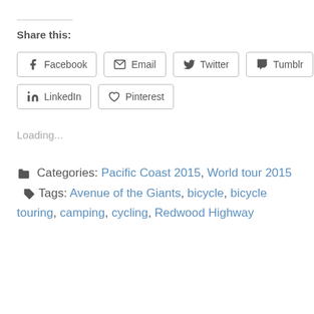Share this:
Facebook  Email  Twitter  Tumblr  LinkedIn  Pinterest
Loading...
Categories: Pacific Coast 2015, World tour 2015  Tags: Avenue of the Giants, bicycle, bicycle touring, camping, cycling, Redwood Highway